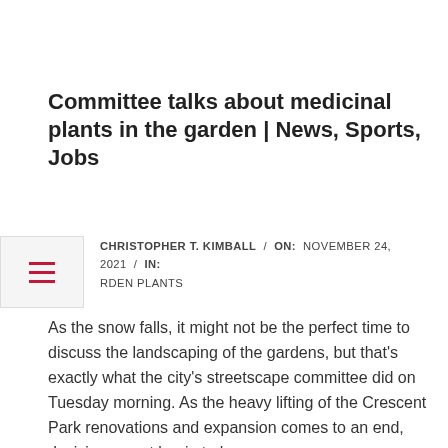Committee talks about medicinal plants in the garden | News, Sports, Jobs
CHRISTOPHER T. KIMBALL  /  ON:  NOVEMBER 24, 2021  /  IN:
RDEN PLANTS
As the snow falls, it might not be the perfect time to discuss the landscaping of the gardens, but that's exactly what the city's streetscape committee did on Tuesday morning. As the heavy lifting of the Crescent Park renovations and expansion comes to an end, decisions must begin to be
[Figure (photo): A child with braided hair wearing a purple jacket and green gloves, holding green plants, with yellow and black objects in the background.]